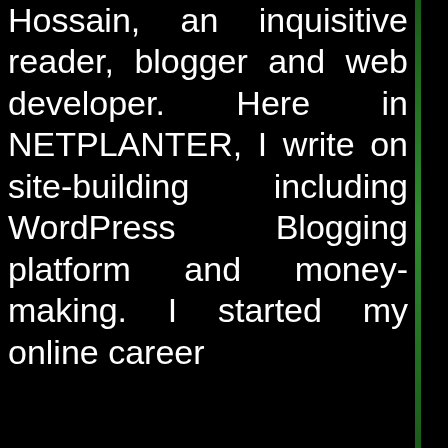Mukaram Hossain, an inquisitive reader, blogger and web developer. Here in NETPLANTER, I write on site-building including WordPress Blogging platform and money-making. I started my online career
Subscribe
Net
Technolo
IP
Address
Server
Domain
Hosting